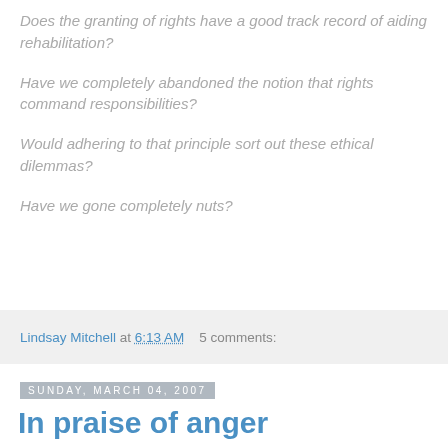Does the granting of rights have a good track record of aiding rehabilitation?
Have we completely abandoned the notion that rights command responsibilities?
Would adhering to that principle sort out these ethical dilemmas?
Have we gone completely nuts?
Lindsay Mitchell at 6:13 AM   5 comments:
Sunday, March 04, 2007
In praise of anger